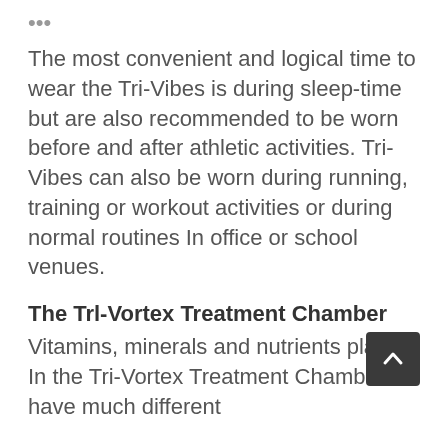•••
The most convenient and logical time to wear the Tri-Vibes is during sleep-time but are also recommended to be worn before and after athletic activities. Tri-Vibes can also be worn during running, training or workout activities or during normal routines In office or school venues.
The Trl-Vortex Treatment Chamber
Vitamins, minerals and nutrients placed In the Tri-Vortex Treatment Chamber have much different